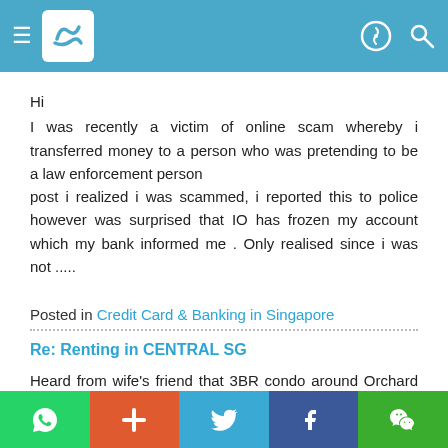Navigation bar with hamburger menu, logo, profile icon, and search icon
Hi
I was recently a victim of online scam whereby i transferred money to a person who was pretending to be a law enforcement person
post i realized i was scammed, i reported this to police however was surprised that IO has frozen my account which my bank informed me . Only realised since i was not .....
Posted in Credit Card & Banking in Singapore
Re: Renting in CENTRAL SG
Heard from wife's friend that 3BR condo around Orchard is now moving towards S$10k/month.
Social share bar: WhatsApp, Plus, Twitter, Facebook, WeChat